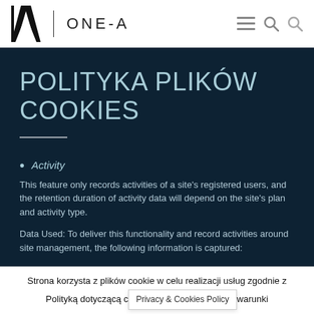ONE-A
POLITYKA PLIKÓW COOKIES
Activity
This feature only records activities of a site's registered users, and the retention duration of activity data will depend on the site's plan and activity type.
Data Used: To deliver this functionality and record activities around site management, the following information is captured:
Strona korzysta z plików cookie w celu realizacji usług zgodnie z Polityką dotyczącą cookies. Możesz określić warunki
Privacy & Cookies Policy